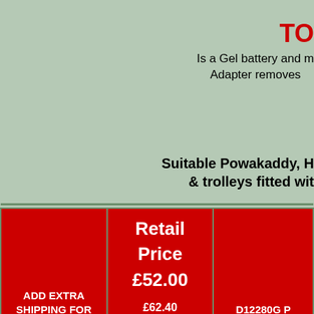TO
Is a Gel battery and m
Adapter removes
Suitable Powakaddy, H
& trolleys fitted wit
| ADD EXTRA SHIPPING FOR YOUR AREA. | Retail Price £52.00
£62.40 Inc VAT for EU UK2/3 Use relevent drop down list | D12280G P |
| --- | --- | --- |
|  |  |  |
|  |  |  |